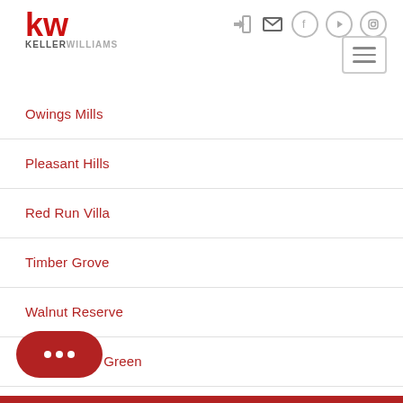Keller Williams - navigation header with logo and icons
Owings Mills
Pleasant Hills
Red Run Villa
Timber Grove
Walnut Reserve
Worthington Green
Woodsyde